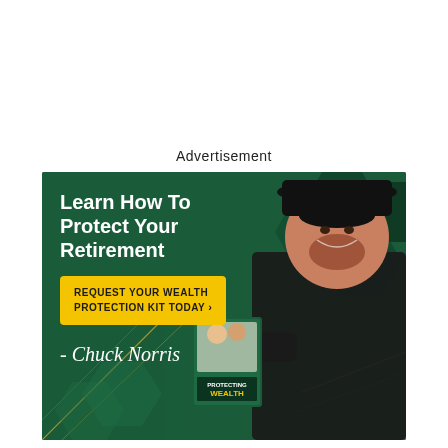Advertisement
[Figure (photo): Advertisement image featuring Chuck Norris on a dark green background with hexagon patterns. Left side shows white bold text 'Learn How To Protect Your Retirement', a yellow call-to-action button reading 'REQUEST YOUR WEALTH PROTECTION KIT TODAY ›', a cursive signature '- Chuck Norris', and a book titled 'PROTECTING WEALTH'. Right side shows Chuck Norris wearing a black cowboy hat and black shirt, smiling, holding the book.]